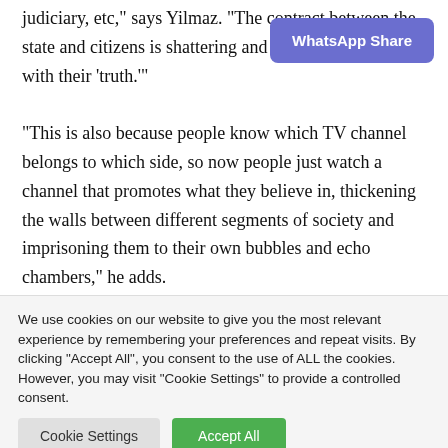judiciary, etc," says Yilmaz. "The contract between the state and citizens is shattering and swaying societies with their 'truth.'"
"This is also because people know which TV channel belongs to which side, so now people just watch a channel that promotes what they believe in, thickening the walls between different segments of society and imprisoning them to their own bubbles and echo chambers," he adds.
[Figure (other): WhatsApp Share button (purple/blue rounded rectangle with white bold text)]
We use cookies on our website to give you the most relevant experience by remembering your preferences and repeat visits. By clicking "Accept All", you consent to the use of ALL the cookies. However, you may visit "Cookie Settings" to provide a controlled consent.